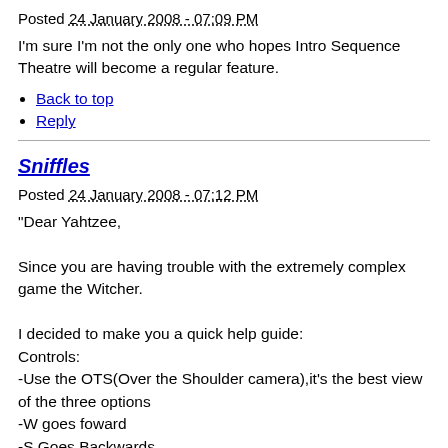Posted 24 January 2008 - 07:09 PM
I'm sure I'm not the only one who hopes Intro Sequence Theatre will become a regular feature.
Back to top
Reply
Sniffles
Posted 24 January 2008 - 07:12 PM
"Dear Yahtzee,

Since you are having trouble with the extremely complex game the Witcher.

I decided to make you a quick help guide:
Controls:
-Use the OTS(Over the Shoulder camera),it's the best view of the three options
-W goes foward
-S Goes Backwards
-D Goes Right